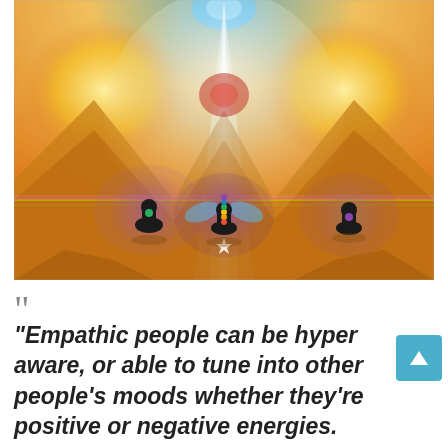[Figure (illustration): Spiritual illustration showing meditating figures in lotus position with colorful chakra auras (purple, green, blue/rainbow), set against a golden/orange desert pyramid landscape with beams of white light and a blue orb at the top center.]
““
“Empathic people can be hyper aware, or able to tune into other people’s moods whether they’re positive or negative energies.